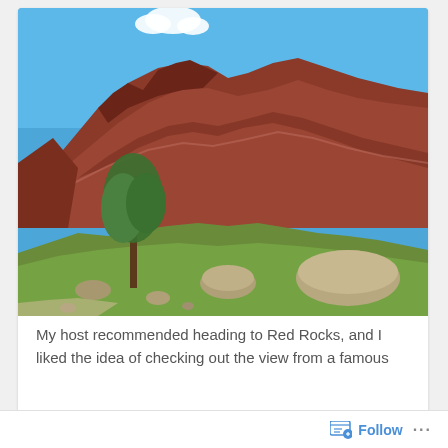[Figure (photo): Photograph of Red Rocks, showing large red sandstone rock formations rising up against a clear blue sky, with green scrub trees and scattered boulders on a grassy hillside in the foreground.]
My host recommended heading to Red Rocks, and I liked the idea of checking out the view from a famous
Follow ...